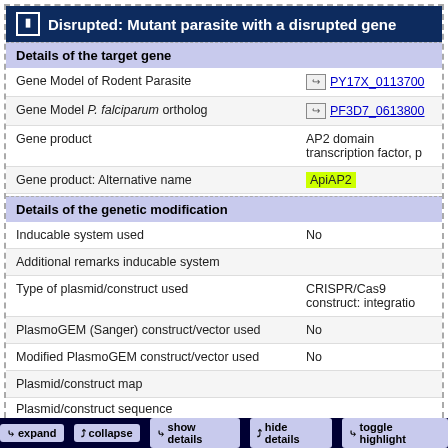Disrupted: Mutant parasite with a disrupted gene
Details of the target gene
| Field | Value |
| --- | --- |
| Gene Model of Rodent Parasite | PY17X_0113700 |
| Gene Model P. falciparum ortholog | PF3D7_0613800 |
| Gene product | AP2 domain transcription factor, p |
| Gene product: Alternative name | ApiAP2 |
Details of the genetic modification
| Field | Value |
| --- | --- |
| Inducable system used | No |
| Additional remarks inducable system |  |
| Type of plasmid/construct used | CRISPR/Cas9 construct: integratio |
| PlasmoGEM (Sanger) construct/vector used | No |
| Modified PlasmoGEM construct/vector used | No |
| Plasmid/construct map |  |
| Plasmid/construct sequence |  |
expand  collapse  show details  hide details  toggle highlight